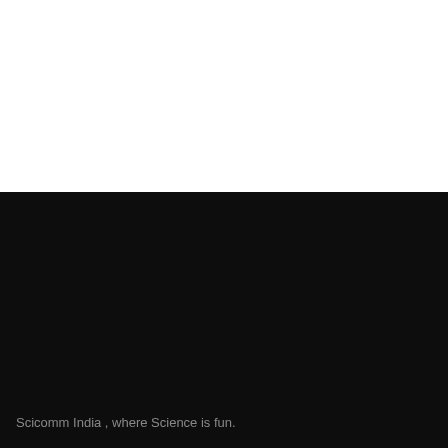[Figure (other): White top half of page — blank white background area]
[Figure (other): Black bottom half of page — dark background area]
Scicomm India , where Science is fun.